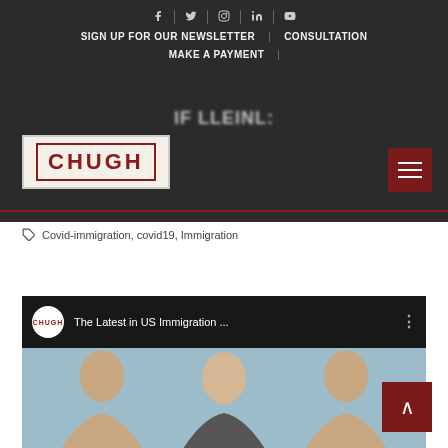Social icons: f | Twitter | Instagram | in | YouTube
SIGN UP FOR OUR NEWSLETTER | CONSULTATION
MAKE A PAYMENT
[Figure (logo): CHUGH law firm logo — white text on red background with cream border]
Covid-immigration, covid19, Immigration
[Figure (screenshot): YouTube video embed showing 'The Latest in US Immigration ...' with Chugh logo and three people in thumbnail]